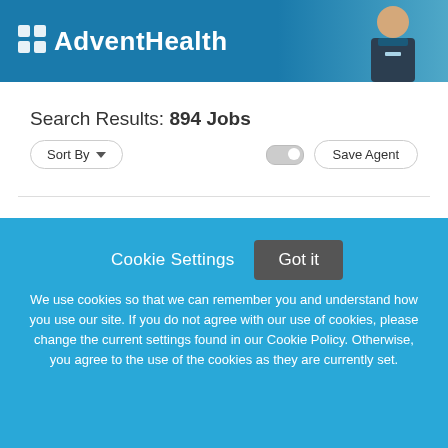[Figure (logo): AdventHealth logo with blue banner and healthcare worker photo]
Search Results: 894 Jobs
Sort By
Save Agent
Cookie Settings
Got it
We use cookies so that we can remember you and understand how you use our site. If you do not agree with our use of cookies, please change the current settings found in our Cookie Policy. Otherwise, you agree to the use of the cookies as they are currently set.